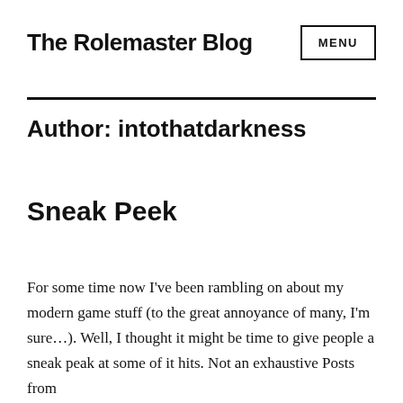The Rolemaster Blog
Author: intothatdarkness
Sneak Peek
For some time now I've been rambling on about my modern game stuff (to the great annoyance of many, I'm sure…). Well, I thought it might be time to give people a sneak peak at some of it hits. Not an exhaustive Posts from